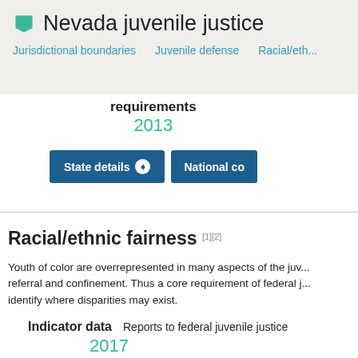Nevada juvenile justice
Jurisdictional boundaries   Juvenile defense   Racial/eth...
requirements
2013
State details ➔   National co...
Racial/ethnic fairness [1][2]
Youth of color are overrepresented in many aspects of the juv... referral and confinement. Thus a core requirement of federal j... identify where disparities may exist.
Indicator data   Reports to federal juvenile justice
2017